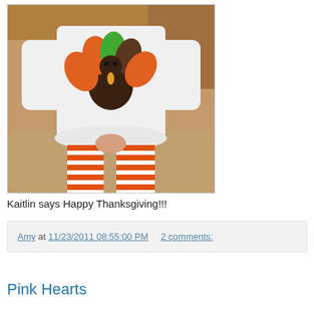[Figure (photo): A child sitting on a couch wearing a white long-sleeve shirt with a colorful turkey applique and orange and white striped tights/leggings.]
Kaitlin says Happy Thanksgiving!!!
Amy at 11/23/2011 08:55:00 PM    2 comments:
Pink Hearts